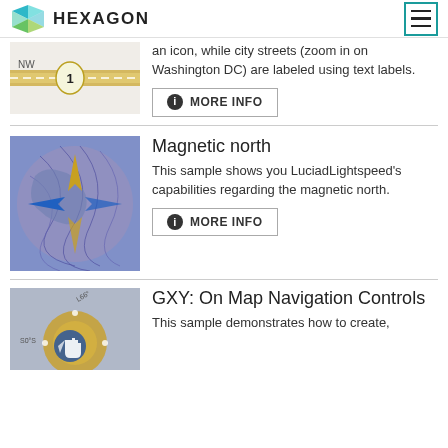HEXAGON
an icon, while city streets (zoom in on Washington DC) are labeled using text labels.
MORE INFO
Magnetic north
This sample shows you LuciadLightspeed's capabilities regarding the magnetic north.
MORE INFO
GXY: On Map Navigation Controls
This sample demonstrates how to create,